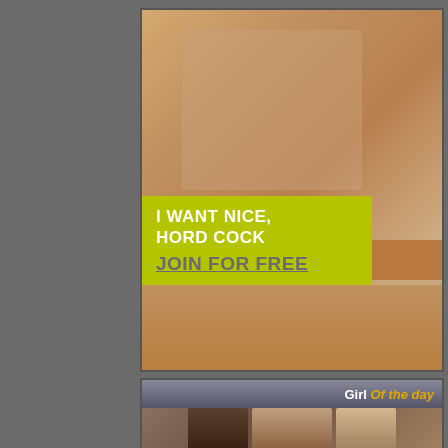[Figure (photo): Adult advertisement banner with photo of two people on a couch/floor, with yellow-green overlay text box saying 'I WANT NICE, HORD COCK JOIN FOR FREE']
I WANT NICE, HORD COCK JOIN FOR FREE
[Figure (photo): Girl of the day section with header bar and photo of a dark-haired woman]